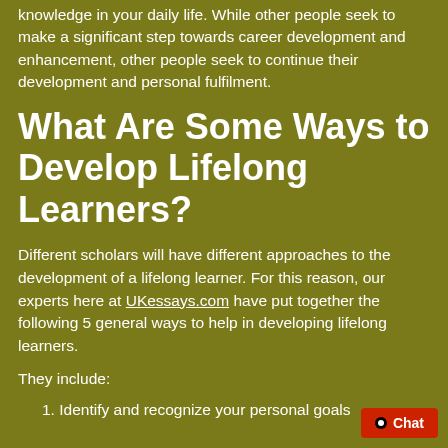knowledge in your daily life. While other people seek to make a significant step towards career development and enhancement, other people seek to continue their development and personal fulfilment.
What Are Some Ways to Develop Lifelong Learners?
Different scholars will have different approaches to the development of a lifelong learner. For this reason, our experts here at UKessays.com have put together the following 5 general ways to help in developing lifelong learners.
They include:
1. Identify and recognize your personal goals